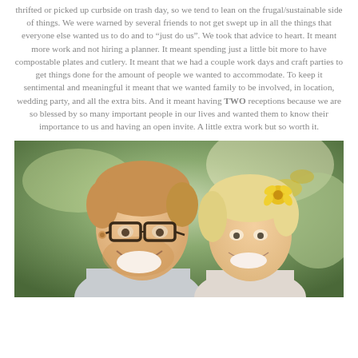thrifted or picked up curbside on trash day, so we tend to lean on the frugal/sustainable side of things. We were warned by several friends to not get swept up in all the things that everyone else wanted us to do and to “just do us”. We took that advice to heart. It meant more work and not hiring a planner. It meant spending just a little bit more to have compostable plates and cutlery. It meant that we had a couple work days and craft parties to get things done for the amount of people we wanted to accommodate. To keep it sentimental and meaningful it meant that we wanted family to be involved, in location, wedding party, and all the extra bits. And it meant having TWO receptions because we are so blessed by so many important people in our lives and wanted them to know their importance to us and having an open invite. A little extra work but so worth it.
[Figure (photo): A smiling couple outdoors. A man with glasses and short reddish-blonde hair laughs with a woman with blonde hair and a yellow flower in her hair, with greenery and trees in the background.]